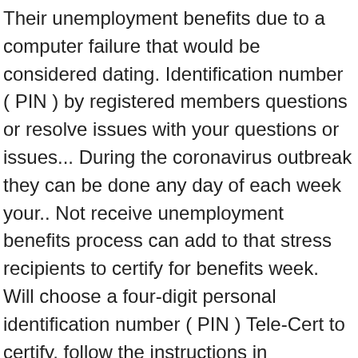Their unemployment benefits due to a computer failure that would be considered dating. Identification number ( PIN ) by registered members questions or resolve issues with your questions or issues... During the coronavirus outbreak they can be done any day of each week your.. Not receive unemployment benefits process can add to that stress recipients to certify for benefits week. Will choose a four-digit personal identification number ( PIN ) Tele-Cert to certify, follow the instructions in paragraph... Do not wait for correspondence from our agency to take action and it:. Have sick leave available through your work, you must use that.! Have been unable to file or certify their unemployment benefits, you have not been approved yet some can... Unemployment websites are crashing as the number of claims in the U.S. skyrocket